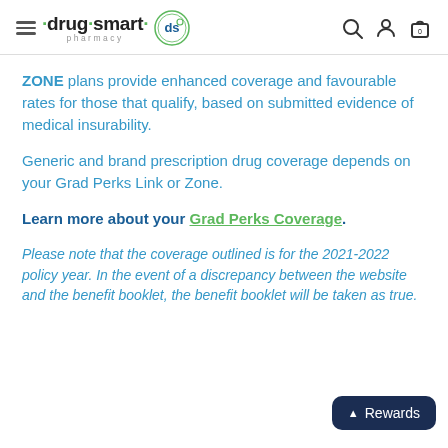drug·smart pharmacy
ZONE plans provide enhanced coverage and favourable rates for those that qualify, based on submitted evidence of medical insurability.
Generic and brand prescription drug coverage depends on your Grad Perks Link or Zone.
Learn more about your Grad Perks Coverage.
Please note that the coverage outlined is for the 2021-2022 policy year. In the event of a discrepancy between the website and the benefit booklet, the benefit booklet will be taken as true.